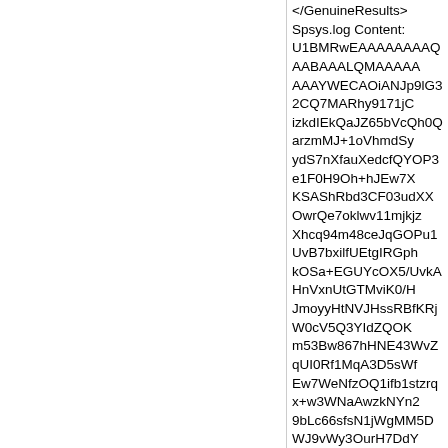</GenuineResults>
Spsys.log Content:
U1BMRwEAAAAAAAAQAABAAALQMAAAAAAAAYWECAOiANJp9lG32CQ7MARhy9171jCizkdIEkQaJZ65bVcQh0QarzmMJ+1oVhmdSyydS7nXfauXedcfQYOP3e1F0H9Oh+hJEw7XKSAShRbd3CF03udXXOwrQe7oklwv11mjkjzXhcq94m48ceJqGOPu1UvB7bxilfUEtgIRGphkOSa+EGUYcOX5/UvkAHnVxnUtGTMviK0/HJmoyyHtNVJHssRBfKRjW0cV5Q3YIdZQOKm53Bw867hHNE43WvZqUI0Rf1MqA3D5sWfEw7WeNfzOQ1ifb1stzrqx+w3WNaAwzkNYn29bLc66sfsN1jWgMM5DWJ9vWy3OurH7DdY1oDDOQ1ifb1stzrqx+w3WNaAwYcvde9Ywos5HSBJEGiWeuCo/yNjnzI6p7inHBkS4Ds5HhJ8OPNcP8JHCqKrJXB19RdB/TofoSRMO1ykgEoUW3/FY3jFRYCUI6p48hbcqiHtZo5I814XKveJuPHHiahjj7tVLwe28YiH1BLYCERqYZDkmvhBlGHDl+f1L5AB51cZ1LRkzL4itPxyZqMsh7TVSR7LEQXykY1tHFeUN2CHWUDipudwcPOu4RzRON1r2aICNEX9TKgNw+bFnxMO1njX8zkNYn29bLc66sfsN1jWgMM5DWJ9vWy3OurH7DdY1oDDOQ1ifb1stzrqx+w3WNaAwzkNYn29bLc66sfsN1jWgM
Licensing Data-->
C:\Windows\system32\slmgr.vbs(857, 9)
(null): 0xC004D401
Windows Activation Technologies-->
N/A
HWID Data-->
HWID Hash Current:
OgAAAAIAAQABAAEAAgADAAAABAABAAE